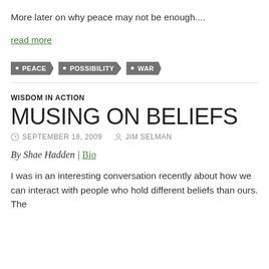More later on why peace may not be enough....
read more
PEACE
POSSIBILITY
WAR
WISDOM IN ACTION
MUSING ON BELIEFS
SEPTEMBER 18, 2009   JIM SELMAN
By Shae Hadden | Bio
I was in an interesting conversation recently about how we can interact with people who hold different beliefs than ours. The